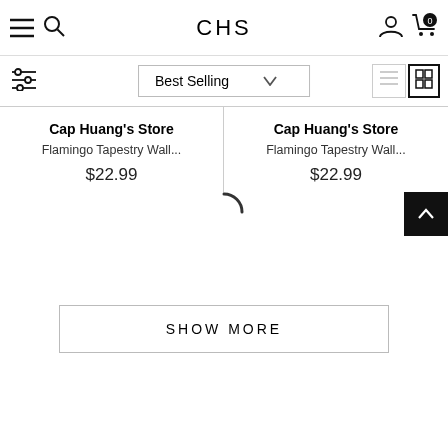CHS
[Figure (screenshot): E-commerce product listing page for CHS showing two products: Flamingo Tapestry Wall... at $22.99 each from Cap Huang's Store, with a loading spinner, Best Selling sort dropdown, and Show More button]
Cap Huang's Store
Flamingo Tapestry Wall...
$22.99
Cap Huang's Store
Flamingo Tapestry Wall...
$22.99
SHOW MORE